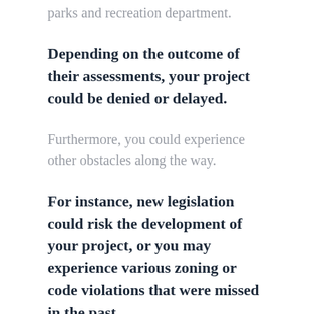parks and recreation department.
Depending on the outcome of their assessments, your project could be denied or delayed.
Furthermore, you could experience other obstacles along the way.
For instance, new legislation could risk the development of your project, or you may experience various zoning or code violations that were missed in the past.